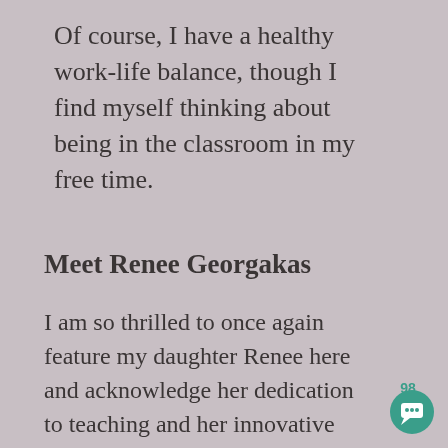Of course, I have a healthy work-life balance, though I find myself thinking about being in the classroom in my free time.
Meet Renee Georgakas
I am so thrilled to once again feature my daughter Renee here and acknowledge her dedication to teaching and her innovative and creative ways she brings fun in the
98